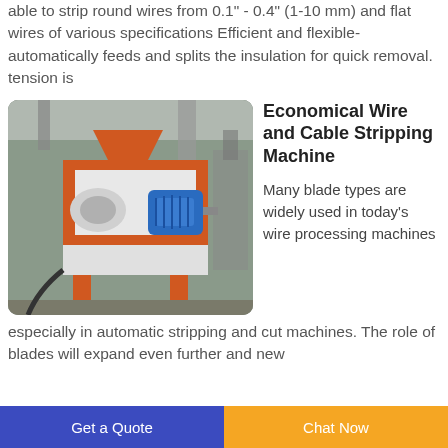able to strip round wires from 0.1" - 0.4" (1-10 mm) and flat wires of various specifications Efficient and flexible- automatically feeds and splits the insulation for quick removal. tension is
[Figure (photo): Industrial orange and white wire and cable stripping machine with blue motor, photographed in a factory/warehouse setting.]
Economical Wire and Cable Stripping Machine
Many blade types are widely used in today's wire processing machines especially in automatic stripping and cut machines. The role of blades will expand even further and new
Get a Quote | Chat Now